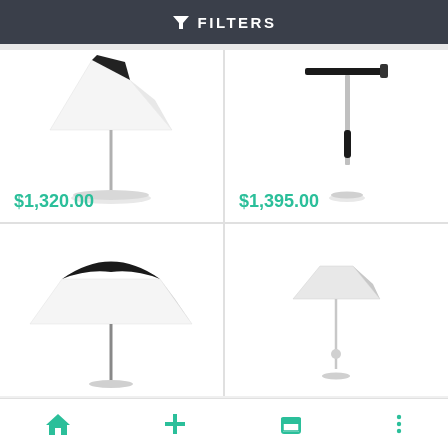FILTERS
[Figure (photo): White and black table lamp with wide shade on a thin pole with circular base]
$1,320.00
[Figure (photo): Modern desk lamp with flat black rectangular shade on an articulated arm/pole]
$1,395.00
[Figure (photo): Black and white lamp shade (no visible price)]
[Figure (photo): White floor lamp with triangular/cone shade on thin white pole]
Home | Add | Cart | More